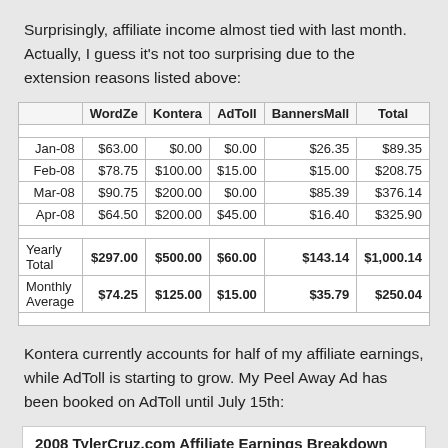Surprisingly, affiliate income almost tied with last month. Actually, I guess it's not too surprising due to the extension reasons listed above:
|  | WordZe | Kontera | AdToll | BannersMall | Total |
| --- | --- | --- | --- | --- | --- |
| Jan-08 | $63.00 | $0.00 | $0.00 | $26.35 | $89.35 |
| Feb-08 | $78.75 | $100.00 | $15.00 | $15.00 | $208.75 |
| Mar-08 | $90.75 | $200.00 | $0.00 | $85.39 | $376.14 |
| Apr-08 | $64.50 | $200.00 | $45.00 | $16.40 | $325.90 |
| Yearly Total | $297.00 | $500.00 | $60.00 | $143.14 | $1,000.14 |
| Monthly Average | $74.25 | $125.00 | $15.00 | $35.79 | $250.04 |
Kontera currently accounts for half of my affiliate earnings, while AdToll is starting to grow. My Peel Away Ad has been booked on AdToll until July 15th:
2008 TylerCruz.com Affiliate Earnings Breakdown